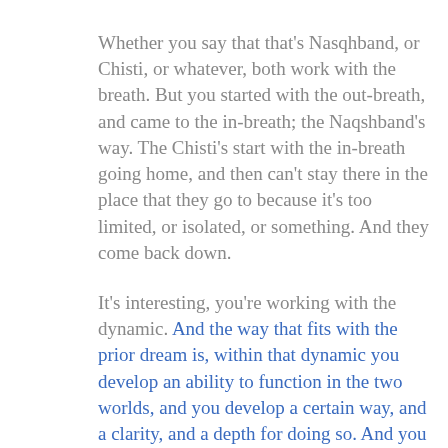Whether you say that that's Nasqhband, or Chisti, or whatever, both work with the breath. But you started with the out-breath, and came to the in-breath; the Naqshband's way. The Chisti's start with the in-breath going home, and then can't stay there in the place that they go to because it's too limited, or isolated, or something. And they come back down.
It's interesting, you're working with the dynamic. And the way that fits with the prior dream is, within that dynamic you develop an ability to function in the two worlds, and you develop a certain way, and a clarity, and a depth for doing so. And you recognize that the witnessing way – without having to say anything – is the best. And